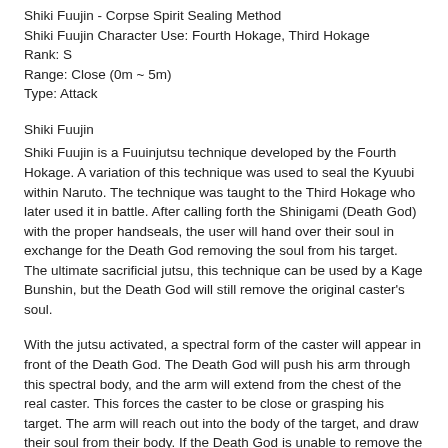Shiki Fuujin - Corpse Spirit Sealing Method
Shiki Fuujin Character Use: Fourth Hokage, Third Hokage
Rank: S
Range: Close (0m ~ 5m)
Type: Attack
Shiki Fuujin
Shiki Fuujin is a Fuuinjutsu technique developed by the Fourth Hokage. A variation of this technique was used to seal the Kyuubi within Naruto. The technique was taught to the Third Hokage who later used it in battle. After calling forth the Shinigami (Death God) with the proper handseals, the user will hand over their soul in exchange for the Death God removing the soul from his target. The ultimate sacrificial jutsu, this technique can be used by a Kage Bunshin, but the Death God will still remove the original caster's soul.
With the jutsu activated, a spectral form of the caster will appear in front of the Death God. The Death God will push his arm through this spectral body, and the arm will extend from the chest of the real caster. This forces the caster to be close or grasping his target. The arm will reach out into the body of the target, and draw their soul from their body. If the Death God is unable to remove the whole soul because of the near death of the caster, it can remove it's knife and merely slice off a portion of the spectral form's soul to consume. This will